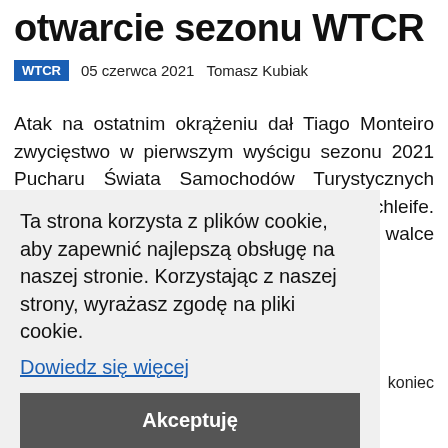otwarcie sezonu WTCR
WTCR   05 czerwca 2021   Tomasz Kubiak
Atak na ostatnim okrążeniu dał Tiago Monteiro zwycięstwo w pierwszym wyścigu sezonu 2021 Pucharu Świata Samochodów Turystycznych WTCR na torze Nürburgring Nordschleife. Portugalczyk pokonał w bezpośredniej walce Yvana Mullera, a podium
Ta strona korzysta z plików cookie, aby zapewnić najlepszą obsługę na naszej stronie. Korzystając z naszej strony, wyrażasz zgodę na pliki cookie. Dowiedz się więcej
Akceptuję
» koniec